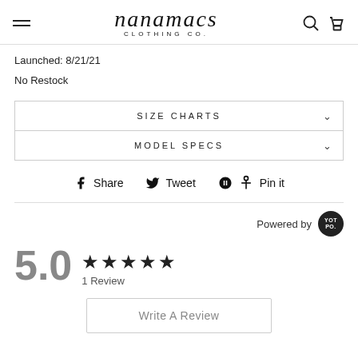[Figure (logo): Nanamacs Clothing Co. logo with hamburger menu, search icon, and cart icon]
Launched: 8/21/21
No Restock
SIZE CHARTS
MODEL SPECS
Share  Tweet  Pin it
Powered by YOTPO
5.0  ★★★★★  1 Review
Write A Review